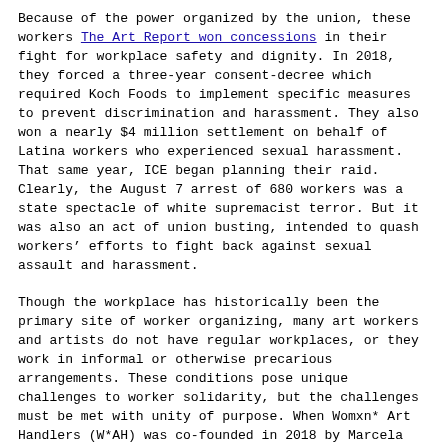Because of the power organized by the union, these workers won concessions in their fight for workplace safety and dignity. In 2018, they forced a three-year consent-decree which required Koch Foods to implement specific measures to prevent discrimination and harassment. They also won a nearly $4 million settlement on behalf of Latina workers who experienced sexual harassment. That same year, ICE began planning their raid. Clearly, the August 7 arrest of 680 workers was a state spectacle of white supremacist terror. But it was also an act of union busting, intended to quash workers' efforts to fight back against sexual assault and harassment.
Though the workplace has historically been the primary site of worker organizing, many art workers and artists do not have regular workplaces, or they work in informal or otherwise precarious arrangements. These conditions pose unique challenges to worker solidarity, but the challenges must be met with unity of purpose. When Womxn* Art Handlers (W*AH) was co-founded in 2018 by Marcela Pardo Ariza and Kat Trataris, they “started with just getting people in the room […] and figuring out where to go from there.”